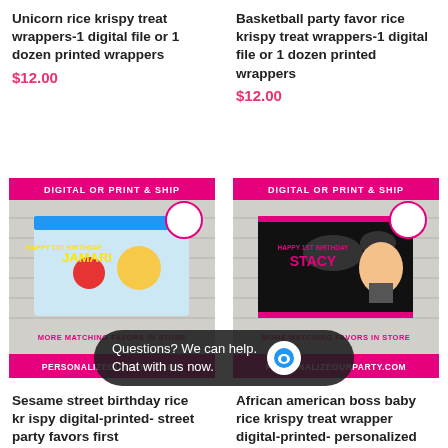Unicorn rice krispy treat wrappers-1 digital file or 1 dozen printed wrappers
$12.00
Basketball party favor rice krispy treat wrappers-1 digital file or 1 dozen printed wrappers
$12.00
[Figure (photo): Sesame street themed rice krispy treat wrapper product image showing 'HAPPY 1ST BIRTHDAY JAMARI' with MORE MATCHING FAVORS IN STORE and PERSONALIZEOURPARTY.COM]
[Figure (photo): Boss baby themed rice krispy treat wrapper product image showing 'HAPPY 1ST BIRTHDAY STACY' with MORE MATCHING FAVORS IN STORE and PERSONALIZEOURPARTY.COM]
Sesame street birthday rice krispy digital-printed- street party favors first
African american boss baby rice krispy treat wrapper digital-printed- personalized boss baby